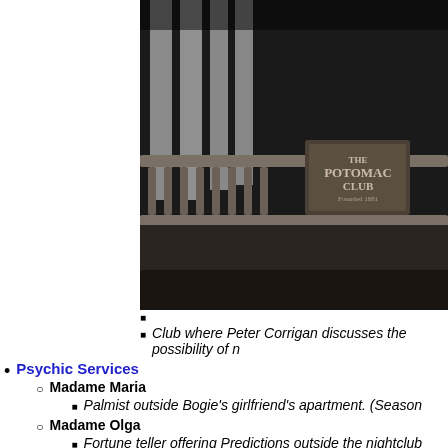[Figure (photo): Black and white photograph of the Potomac Club building facade showing columns, balustrade railing, and a sign reading 'The Potomac Club Founded 1881']
Club where Peter Corrigan discusses the possibility of ...
Psychic Services
Madame Maria
Palmist outside Bogie's girlfriend's apartment. (Season...
Madame Olga
Fortune teller offering Predictions outside the nightclub... cowboy Joe Caswell stumbled down the busy New Yor...
Racehorses